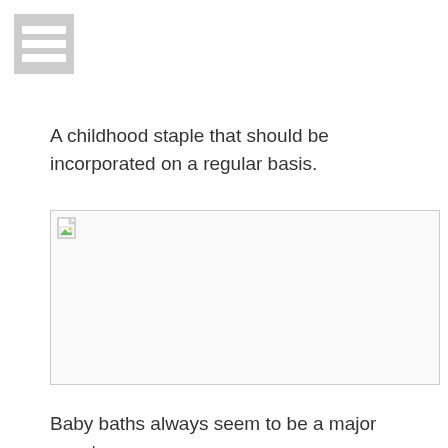[Figure (logo): Gray menu/table icon with three horizontal white lines on gray background]
A childhood staple that should be incorporated on a regular basis.
[Figure (photo): Broken image placeholder with small image icon in top left corner]
Baby baths always seem to be a major event